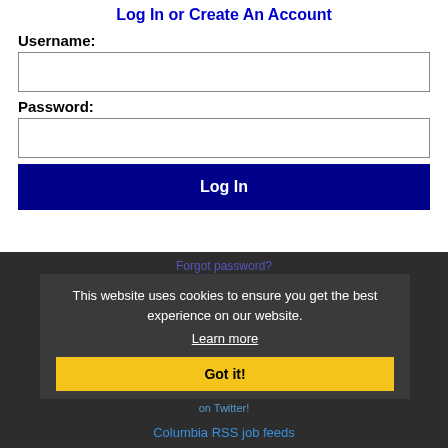Log In or Create An Account
Username:
Password:
Log In
Forgot password?
This website uses cookies to ensure you get the best experience on our website. Learn more
Got it!
Get the latest South Carolina jobs by following @recnetSC on Twitter!
Columbia RSS job feeds